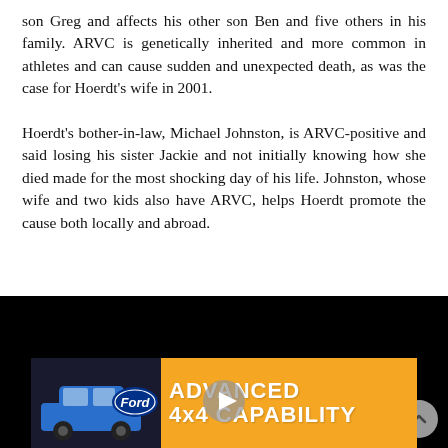son Greg and affects his other son Ben and five others in his family. ARVC is genetically inherited and more common in athletes and can cause sudden and unexpected death, as was the case for Hoerdt's wife in 2001.
Hoerdt's bother-in-law, Michael Johnston, is ARVC-positive and said losing his sister Jackie and not initially knowing how she died made for the most shocking day of his life. Johnston, whose wife and two kids also have ARVC, helps Hoerdt promote the cause both locally and abroad.
[Figure (other): Black video player embed]
[Figure (other): Ford advertisement banner with blue Ford Bronco Sport vehicle and Ford logo, orange background with text 'ADVANCED 4x4 CAPABILITY' and a play button overlay]